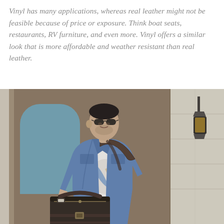Vinyl has many applications, whereas real leather might not be feasible because of price or exposure. Think boat seats, restaurants, RV furniture, and even more. Vinyl offers a similar look that is more affordable and weather resistant than real leather.
[Figure (photo): A man wearing sunglasses and a denim jacket, carrying a dark brown leather-looking bag with straps and buckles. He is standing in front of a wooden door and a stone wall with a lantern. The photo is styled like a fashion/lifestyle shoot.]